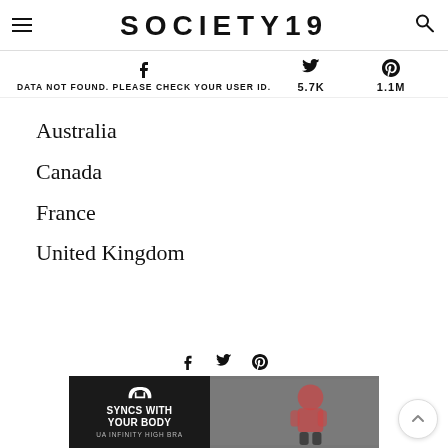SOCIETY19
DATA NOT FOUND. PLEASE CHECK YOUR USER ID.   5.7K   1.1M
Australia
Canada
France
United Kingdom
[Figure (photo): Under Armour advertisement banner: 'Syncs With Your Body UA Infinity High Bra' with Under Armour logo and woman exercising in background]